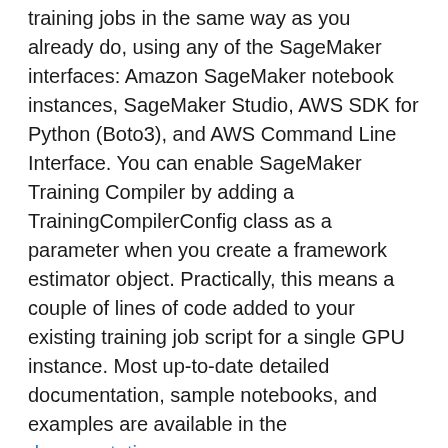training jobs in the same way as you already do, using any of the SageMaker interfaces: Amazon SageMaker notebook instances, SageMaker Studio, AWS SDK for Python (Boto3), and AWS Command Line Interface. You can enable SageMaker Training Compiler by adding a TrainingCompilerConfig class as a parameter when you create a framework estimator object. Practically, this means a couple of lines of code added to your existing training job script for a single GPU instance. Most up-to-date detailed documentation, sample notebooks, and examples are available in the documentation.
Q: What is the pricing of SageMaker Training Compiler?
Training Compiler is a SageMaker Training feature and is provided at no additional charge exclusively to SageMaker customers. Customers can actually reduce their costs with Training Compiler as training times are reduced